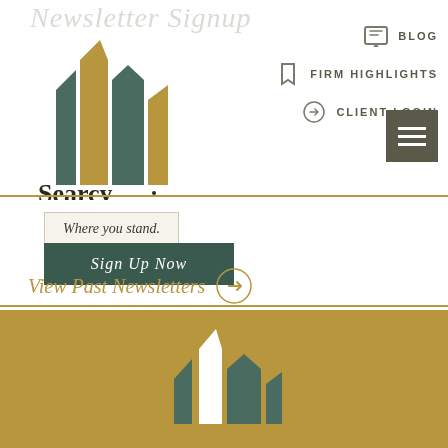Newsletter Signup
[Figure (logo): Searcy Financial logo with three stylized building/spire shapes in dark teal and gold, with text 'Searcy FINANCIAL' and tagline 'Where you stand.']
BLOG
FIRM HIGHLIGHTS
CLIENT LOGIN
Where you stand.
Sign Up Now
View Past Newsletters
[Figure (logo): Searcy Financial logo mark — three stylized spire/building shapes in dark teal and white on gold background]